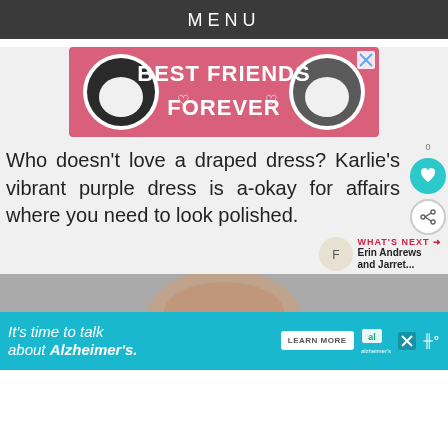MENU
[Figure (illustration): Pink advertisement banner with two cats and text 'BEST FRIENDS FOREVER' with heart symbols]
Who doesn't love a draped dress? Karlie's vibrant purple dress is a-okay for affairs where you need to look polished.
[Figure (photo): Partial photo of a person visible at the bottom of the page]
[Figure (illustration): Blue advertisement banner: 'It's time to talk about Alzheimer's.' with Learn More button and Alzheimer's Association logo]